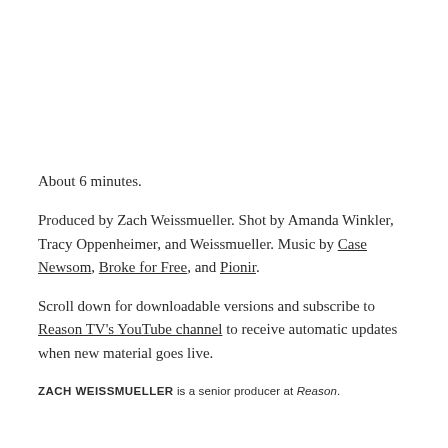About 6 minutes.
Produced by Zach Weissmueller. Shot by Amanda Winkler, Tracy Oppenheimer, and Weissmueller. Music by Case Newsom, Broke for Free, and Pionir.
Scroll down for downloadable versions and subscribe to Reason TV's YouTube channel to receive automatic updates when new material goes live.
ZACH WEISSMUELLER is a senior producer at Reason.